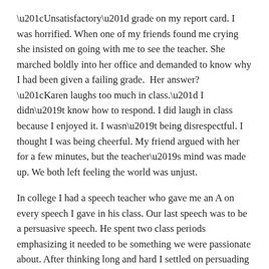“Unsatisfactory” grade on my report card. I was horrified. When one of my friends found me crying she insisted on going with me to see the teacher. She marched boldly into her office and demanded to know why I had been given a failing grade.  Her answer? “Karen laughs too much in class.” I didn’t know how to respond. I did laugh in class because I enjoyed it. I wasn’t being disrespectful. I thought I was being cheerful. My friend argued with her for a few minutes, but the teacher’s mind was made up. We both left feeling the world was unjust.
In college I had a speech teacher who gave me an A on every speech I gave in his class. Our last speech was to be a persuasive speech. He spent two class periods emphasizing it needed to be something we were passionate about. After thinking long and hard I settled on persuading my classmates of the evidence that Jesus rose from the dead. I spent hours preparing. Writing and rewriting. I was sticking to the historical facts. My turn came to speak. When I finished my teacher stood up quickly and laid into me in front of the whole class.